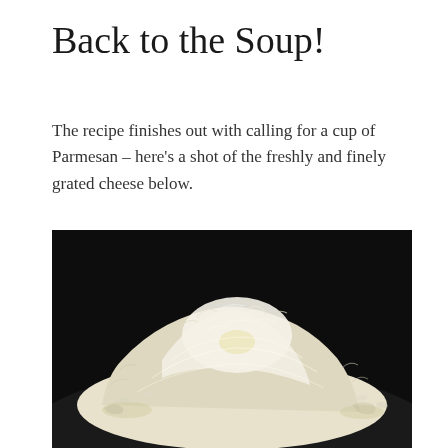Back to the Soup!
The recipe finishes out with calling for a cup of Parmesan – here's a shot of the freshly and finely grated cheese below.
[Figure (photo): A close-up photograph of a mound of freshly and finely grated Parmesan cheese on a dark background.]